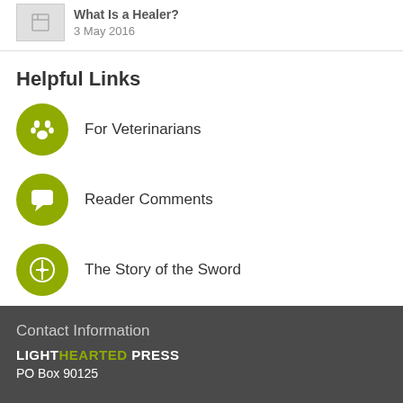What Is a Healer? 3 May 2016
Helpful Links
For Veterinarians
Reader Comments
The Story of the Sword
Contact Information LIGHTHEARTED PRESS PO Box 90125